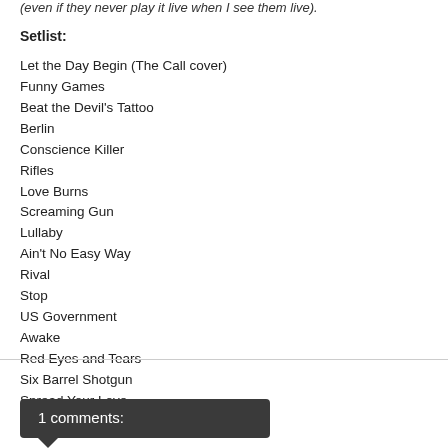(even if they never play it live when I see them live).
Setlist:
Let the Day Begin (The Call cover)
Funny Games
Beat the Devil's Tattoo
Berlin
Conscience Killer
Rifles
Love Burns
Screaming Gun
Lullaby
Ain't No Easy Way
Rival
Stop
US Government
Awake
Red Eyes and Tears
Six Barrel Shotgun
Spread Your Love
Lose Yourself
1 comments: